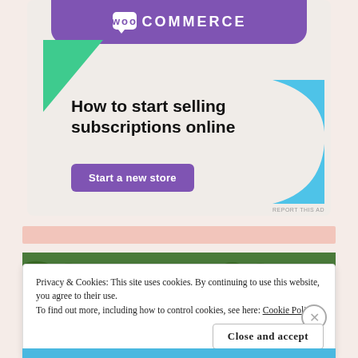[Figure (screenshot): WooCommerce advertisement banner showing purple header with WooCommerce logo, green triangle shape, blue curved shape, headline 'How to start selling subscriptions online', and purple 'Start a new store' button]
Privacy & Cookies: This site uses cookies. By continuing to use this website, you agree to their use.
To find out more, including how to control cookies, see here: Cookie Policy
Close and accept